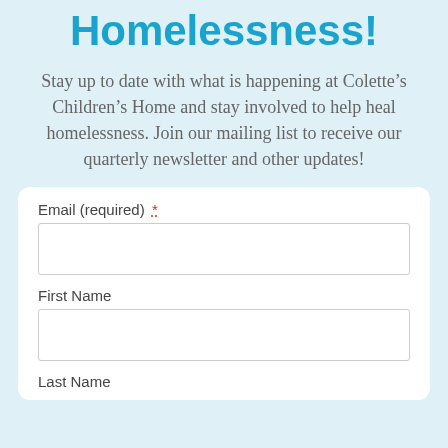Homelessness!
Stay up to date with what is happening at Colette’s Children’s Home and stay involved to help heal homelessness. Join our mailing list to receive our quarterly newsletter and other updates!
Email (required) *
First Name
Last Name